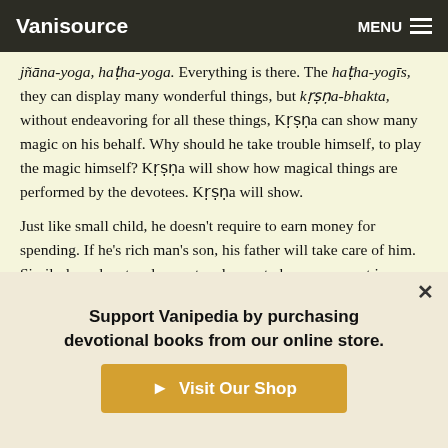Vanisource | MENU
jñāna-yoga, haṭha-yoga. Everything is there. The haṭha-yogīs, they can display many wonderful things, but kṛṣṇa-bhakta, without endeavoring for all these things, Kṛṣṇa can show many magic on his behalf. Why should he take trouble himself, to play the magic himself? Kṛṣṇa will show how magical things are performed by the devotees. Kṛṣṇa will show.
Just like small child, he doesn't require to earn money for spending. If he's rich man's son, his father will take care of him. Similarly, a devotee does not endeavor to become expert in jñāna-yoga, dhyāna-yoga, haṭha-yoga, this yoga. He depends on Kṛṣṇa. And when some yogic mystic power has to be shown,
Support Vanipedia by purchasing devotional books from our online store.
Visit Our Shop